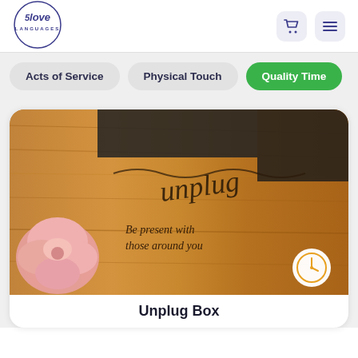[Figure (logo): 5 Love Languages logo — circular logo with stylized cursive '5love' and 'LANGUAGES' text in dark blue/purple]
[Figure (other): Shopping cart icon and hamburger menu icon in dark blue/purple on light gray rounded square buttons]
Acts of Service
Physical Touch
Quality Time
[Figure (photo): Wooden box/organizer with burned lettering reading 'unplug' and 'Be present with those around you', decorated with a pink flower. A clock badge icon is shown bottom-right.]
Unplug Box